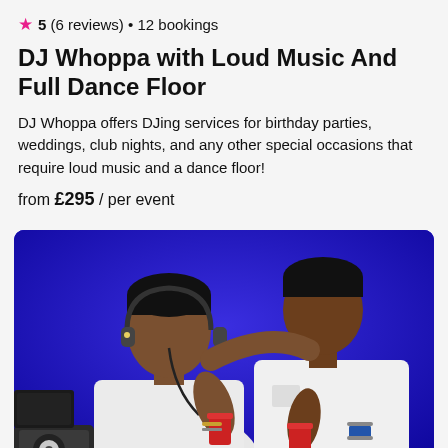★ 5 (6 reviews) • 12 bookings
DJ Whoppa with Loud Music And Full Dance Floor
DJ Whoppa offers DJing services for birthday parties, weddings, club nights, and any other special occasions that require loud music and a dance floor!
from £295 / per event
[Figure (photo): Two men in white t-shirts posing together against a bright blue background. The man on the left has headphones around his neck and is holding a red cup. The man on the right is also holding a red cup. DJ equipment is partially visible at the bottom left.]